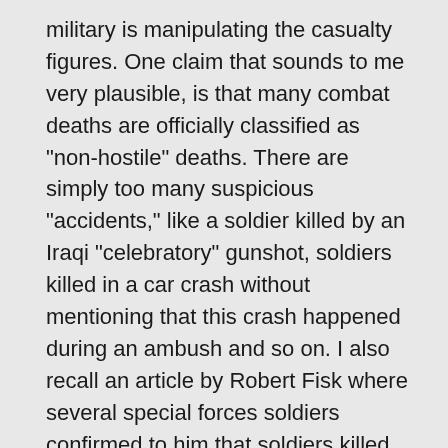military is manipulating the casualty figures. One claim that sounds to me very plausible, is that many combat deaths are officially classified as "non-hostile" deaths. There are simply too many suspicious "accidents," like a soldier killed by an Iraqi "celebratory" gunshot, soldiers killed in a car crash without mentioning that this crash happened during an ambush and so on. I also recall an article by Robert Fisk where several special forces soldiers confirmed to him that soldiers killed in combat were officially reported to have drowned.
There is a simple way to check the plausibility of the official non-combat death toll – compare it to the "normal", peacetime number of deaths. In 1999, the last year statistics are available (see "Worldwide US Active Duty Military Deaths"), 761 US soldiers out of a total of 1.4 Million died (411 accidents, 126 illness, 34